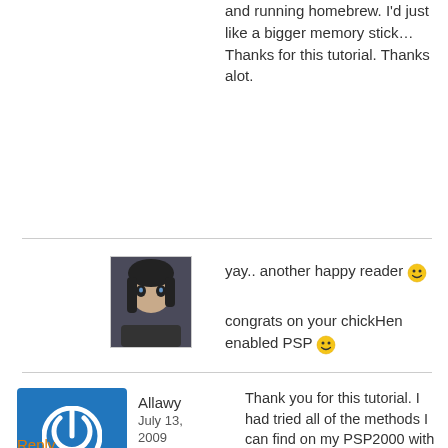and running homebrew. I'd just like a bigger memory stick… Thanks for this tutorial. Thanks alot.
yay.. another happy reader 😀
congrats on your chickHen enabled PSP 😀
sylv3rblade
July 14, 2009
Allawy
July 13, 2009
Reply
Thank you for this tutorial. I had tried all of the methods I can find on my PSP2000 with TA-088v3 and nothing worked until I read yours. What did it for me was to change the Character Set from US (437) to Multilingual latin 1 (850); as soon as I switched it